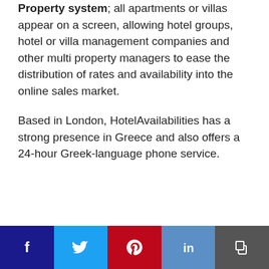Property system; all apartments or villas appear on a screen, allowing hotel groups, hotel or villa management companies and other multi property managers to ease the distribution of rates and availability into the online sales market.
Based in London, HotelAvailabilities has a strong presence in Greece and also offers a 24-hour Greek-language phone service.
[Figure (other): Social sharing bar with Facebook, Twitter, Pinterest, LinkedIn, and Copy buttons]